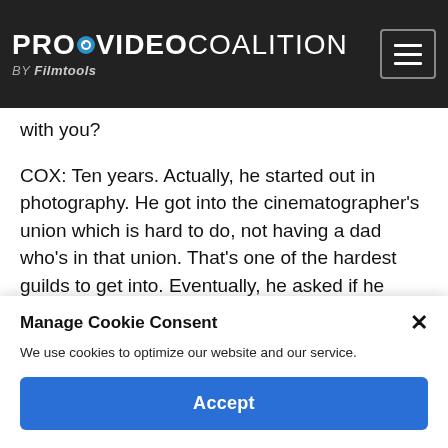PROVIDEO COALITION BY Filmtools
with you?
COX: Ten years. Actually, he started out in photography. He got into the cinematographer's union which is hard to do, not having a dad who's in that union. That's one of the hardest guilds to get into. Eventually, he asked if he could come work with me. We worked it out with Clint and he's been with me
Manage Cookie Consent
We use cookies to optimize our website and our service.
Accept